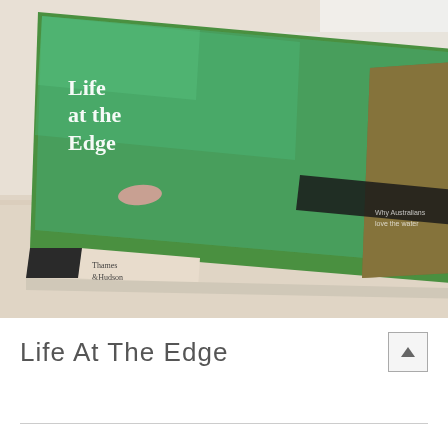[Figure (photo): A hardcover book titled 'Life at the Edge' published by Thames & Hudson, resting on a beige stone surface. The book cover shows an aerial view of a swimming pool with turquoise water and a person floating, alongside rocky coastal terrain. The spine and bottom of the book show 'Thames & Hudson' and 'Why Australians love the water'.]
Life At The Edge